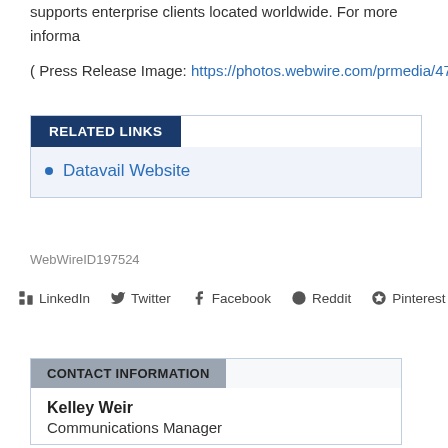supports enterprise clients located worldwide. For more informa
( Press Release Image: https://photos.webwire.com/prmedia/47
RELATED LINKS
Datavail Website
WebWireID197524
LinkedIn  Twitter  Facebook  Reddit  Pinterest
CONTACT INFORMATION
Kelley Weir
Communications Manager